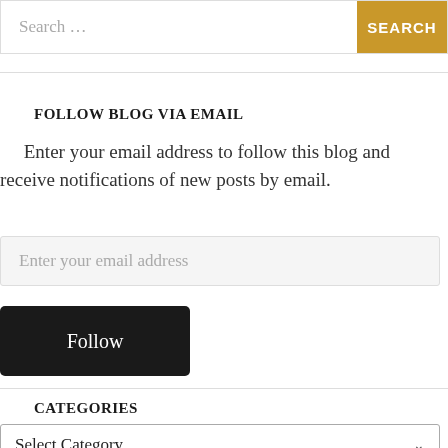[Figure (screenshot): Search bar with text 'Search ...' and a gold 'SEARCH' button on the right]
FOLLOW BLOG VIA EMAIL
Enter your email address to follow this blog and receive notifications of new posts by email.
[Figure (screenshot): Email input field with placeholder text 'Enter your email address']
[Figure (screenshot): Black 'Follow' button]
CATEGORIES
[Figure (screenshot): Dropdown select box showing 'Select Category' with a chevron arrow]